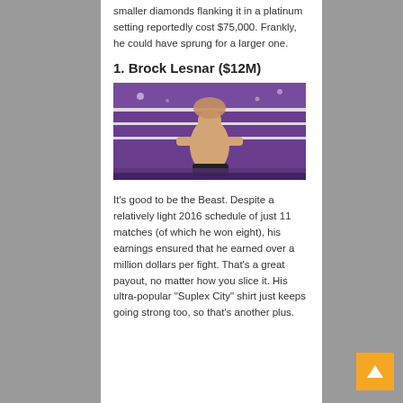smaller diamonds flanking it in a platinum setting reportedly cost $75,000. Frankly, he could have sprung for a larger one.
1. Brock Lesnar ($12M)
[Figure (photo): Brock Lesnar wrestling in a WWE ring, holding an opponent with crowd in the background]
It's good to be the Beast. Despite a relatively light 2016 schedule of just 11 matches (of which he won eight), his earnings ensured that he earned over a million dollars per fight. That's a great payout, no matter how you slice it. His ultra-popular "Suplex City" shirt just keeps going strong too, so that's another plus.